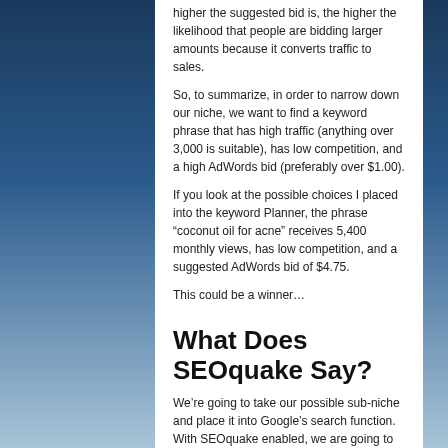higher the suggested bid is, the higher the likelihood that people are bidding larger amounts because it converts traffic to sales.
So, to summarize, in order to narrow down our niche, we want to find a keyword phrase that has high traffic (anything over 3,000 is suitable), has low competition, and a high AdWords bid (preferably over $1.00).
If you look at the possible choices I placed into the keyword Planner, the phrase “coconut oil for acne” receives 5,400 monthly views, has low competition, and a suggested AdWords bid of $4.75.
This could be a winner…
What Does SEOquake Say?
We’re going to take our possible sub-niche and place it into Google’s search function. With SEOquake enabled, we are going to analyze the